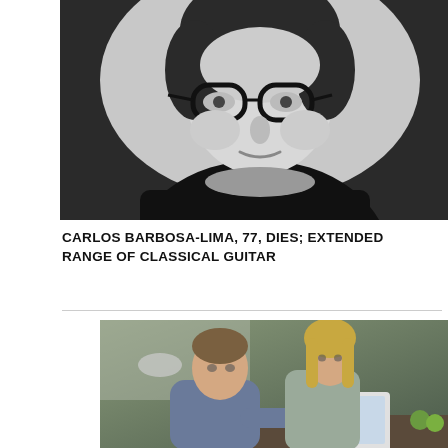[Figure (photo): Black and white portrait photo of a young man with dark hair and thick black-framed glasses, wearing a dark turtleneck, looking at the camera with a slight smile.]
CARLOS BARBOSA-LIMA, 77, DIES; EXTENDED RANGE OF CLASSICAL GUITAR
[Figure (photo): Color photo of a man and a woman sitting together looking at a laptop computer, with green apples visible on the table.]